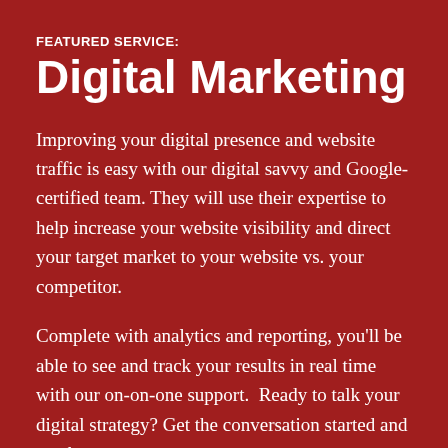FEATURED SERVICE:
Digital Marketing
Improving your digital presence and website traffic is easy with our digital savvy and Google-certified team. They will use their expertise to help increase your website visibility and direct your target market to your website vs. your competitor.
Complete with analytics and reporting, you’ll be able to see and track your results in real time with our on-on-one support.  Ready to talk your digital strategy? Get the conversation started and reach out to our team.